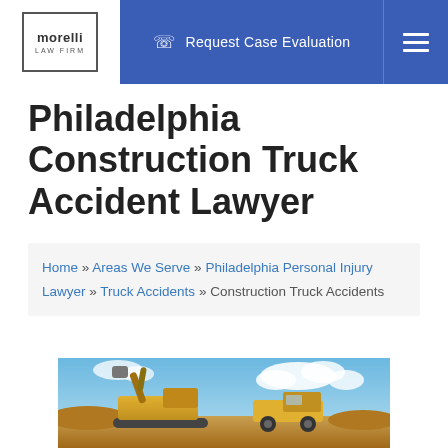Morelli Law Firm — Request Case Evaluation
Philadelphia Construction Truck Accident Lawyer
Home » Areas We Serve » Philadelphia Personal Injury Lawyer » Truck Accidents » Construction Truck Accidents
[Figure (photo): Construction site with yellow excavator and loader truck against a blue sky with clouds and sandy ground]